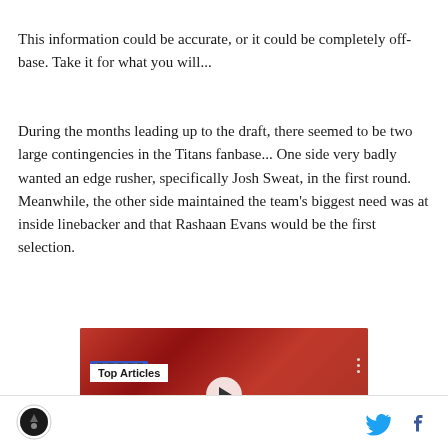This information could be accurate, or it could be completely off-base. Take it for what you will...
During the months leading up to the draft, there seemed to be two large contingencies in the Titans fanbase... One side very badly wanted an edge rusher, specifically Josh Sweat, in the first round. Meanwhile, the other side maintained the team's biggest need was at inside linebacker and that Rashaan Evans would be the first selection.
[Figure (screenshot): Video player screenshot showing football players in red uniforms with a 'Top Articles' overlay label and a play button in the center]
Logo icon | Twitter bird icon | Facebook f icon